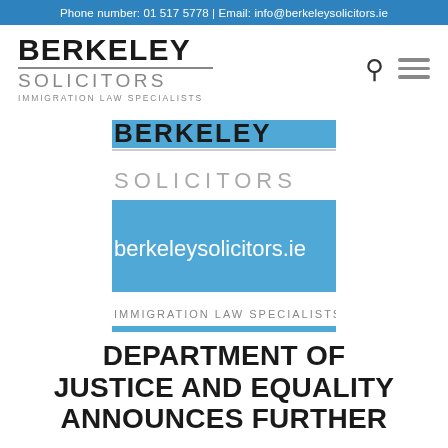Phone number: 01 517 5778 | Email: info@berkeleysolicitors.ie
[Figure (logo): Berkeley Solicitors – Immigration Law Specialists logo in the navigation header]
[Figure (logo): Berkeley Solicitors logo card: BERKELEY in bold black, horizontal rule, SOLICITORS in grey, blue band with berkeleysolicitors.ie, blue band with IMMIGRATION LAW SPECIALISTS text]
DEPARTMENT OF JUSTICE AND EQUALITY ANNOUNCES FURTHER